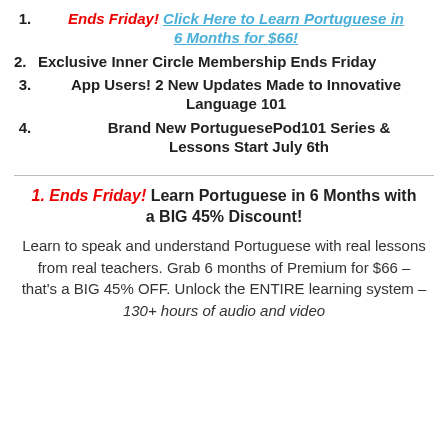1. Ends Friday! Click Here to Learn Portuguese in 6 Months for $66!
2. Exclusive Inner Circle Membership Ends Friday
3. App Users! 2 New Updates Made to Innovative Language 101
4. Brand New PortuguesePod101 Series & Lessons Start July 6th
1. Ends Friday! Learn Portuguese in 6 Months with a BIG 45% Discount! Learn to speak and understand Portuguese with real lessons from real teachers. Grab 6 months of Premium for $66 – that's a BIG 45% OFF. Unlock the ENTIRE learning system – 130+ hours of audio and video